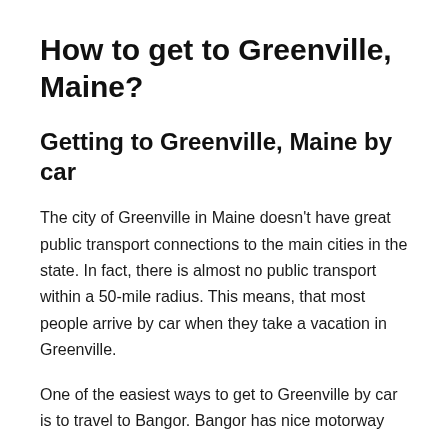How to get to Greenville, Maine?
Getting to Greenville, Maine by car
The city of Greenville in Maine doesn't have great public transport connections to the main cities in the state. In fact, there is almost no public transport within a 50-mile radius. This means, that most people arrive by car when they take a vacation in Greenville.
One of the easiest ways to get to Greenville by car is to travel to Bangor. Bangor has nice motorway